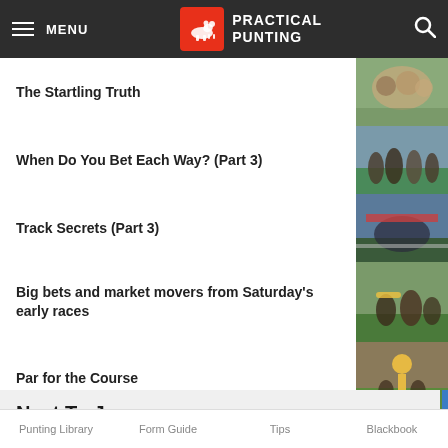MENU  PRACTICAL PUNTING
The Startling Truth
When Do You Bet Each Way? (Part 3)
Track Secrets (Part 3)
Big bets and market movers from Saturday's early races
Par for the Course
Next To Jump
Punting Library   Form Guide   Tips   Blackbook